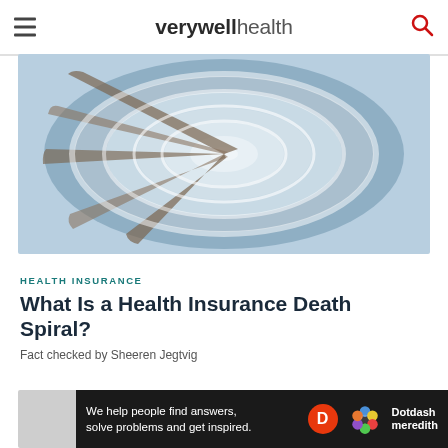verywell health
[Figure (photo): Aerial view of a spiral staircase with blue and white tones, viewed from above]
HEALTH INSURANCE
What Is a Health Insurance Death Spiral?
Fact checked by Sheeren Jegtvig
[Figure (other): Gray advertisement placeholder area]
Ad
We help people find answers, solve problems and get inspired.
[Figure (logo): Dotdash Meredith logo with D circle and flower icon]